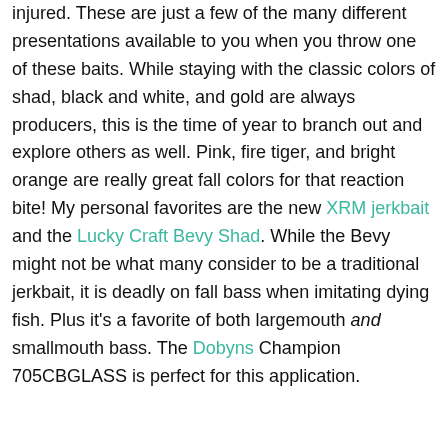injured. These are just a few of the many different presentations available to you when you throw one of these baits. While staying with the classic colors of shad, black and white, and gold are always producers, this is the time of year to branch out and explore others as well. Pink, fire tiger, and bright orange are really great fall colors for that reaction bite! My personal favorites are the new XRM jerkbait and the Lucky Craft Bevy Shad. While the Bevy might not be what many consider to be a traditional jerkbait, it is deadly on fall bass when imitating dying fish. Plus it's a favorite of both largemouth and smallmouth bass. The Dobyns Champion 705CBGLASS is perfect for this application.